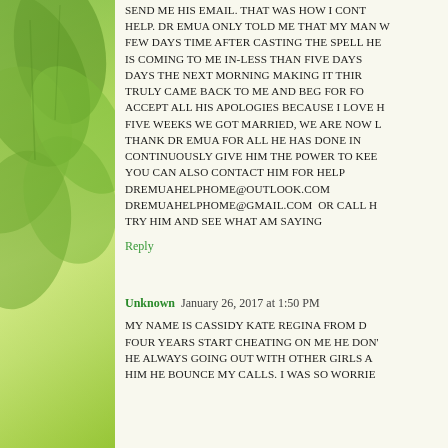SEND ME HIS EMAIL. THAT WAS HOW I CONT HELP. DR EMUA ONLY TOLD ME THAT MY MAN W FEW DAYS TIME AFTER CASTING THE SPELL HE IS COMING TO ME IN-LESS THAN FIVE DAYS DAYS THE NEXT MORNING MAKING IT THIR TRULY CAME BACK TO ME AND BEG FOR FO ACCEPT ALL HIS APOLOGIES BECAUSE I LOVE H FIVE WEEKS WE GOT MARRIED, WE ARE NOW L THANK DR EMUA FOR ALL HE HAS DONE IN CONTINUOUSLY GIVE HIM THE POWER TO KEE YOU CAN ALSO CONTACT HIM FOR HELP DREMUAHELPHOME@OUTLOOK.COM DREMUAHELPHOME@GMAIL.COM OR CALL H TRY HIM AND SEE WHAT AM SAYING
Reply
Unknown January 26, 2017 at 1:50 PM
MY NAME IS CASSIDY KATE REGINA FROM D FOUR YEARS START CHEATING ON ME HE DON' HE ALWAYS GOING OUT WITH OTHER GIRLS A HIM HE BOUNCE MY CALLS. I WAS SO WORRIE